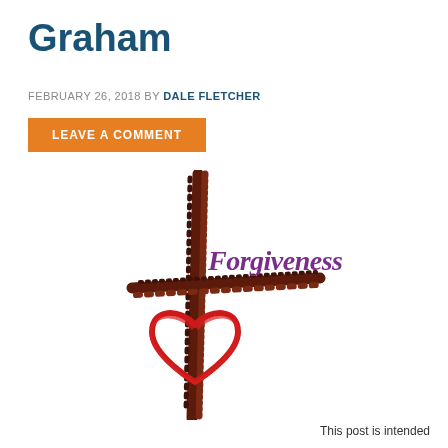Graham
FEBRUARY 26, 2018 BY DALE FLETCHER
LEAVE A COMMENT
[Figure (illustration): An illustration of a cross drawn in rough brushstroke style in dark brown/maroon, with the word 'Forgiveness' written in purple cursive script to the right of the top of the cross, and a red heart outline drawn at the base of the cross.]
This post is intended